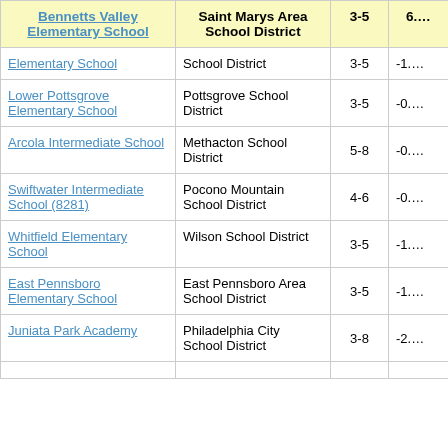| School | District | Grades | Score |
| --- | --- | --- | --- |
| Bennetts Valley Elementary School | Saint Marys Area School District | 3-5 | 6.… |
| Elementary School | School District | 3-5 | -1.… |
| Lower Pottsgrove Elementary School | Pottsgrove School District | 3-5 | -0.… |
| Arcola Intermediate School | Methacton School District | 5-8 | -0.… |
| Swiftwater Intermediate School (8281) | Pocono Mountain School District | 4-6 | -0.… |
| Whitfield Elementary School | Wilson School District | 3-5 | -1.… |
| East Pennsboro Elementary School | East Pennsboro Area School District | 3-5 | -1.… |
| Juniata Park Academy | Philadelphia City School District | 3-8 | -2.… |